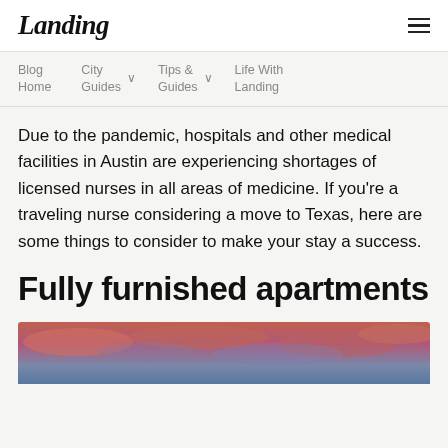Landing
Blog Home   City Guides   Tips & Guides   Life With Landing
Due to the pandemic, hospitals and other medical facilities in Austin are experiencing shortages of licensed nurses in all areas of medicine. If you’re a traveling nurse considering a move to Texas, here are some things to consider to make your stay a success.
Fully furnished apartments
[Figure (photo): Sunset sky with pink and purple clouds, bottom portion of an outdoor photo]